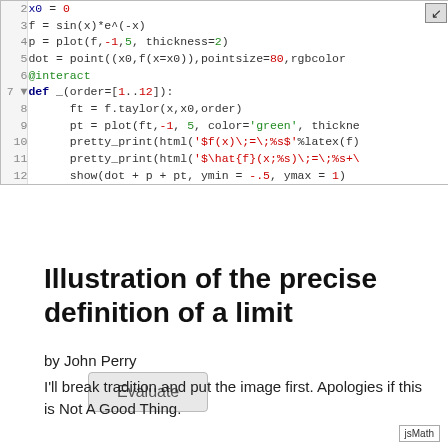[Figure (screenshot): Code editor screenshot showing lines 2-12 of a SageMath/Python script with syntax highlighting. Line 2: x0=0, Line 3: f=sin(x)*e^(-x), Line 4: p=plot(f,-1,5,thickness=2), Line 5: dot=point((x0,f(x=x0)),pointsize=80,rgbcolor:...), Line 6: @interact, Line 7: def _(order=[1..12]):, Line 8: ft=f.taylor(x,x0,order), Line 9: pt=plot(ft,-1,5,color='green',thickne:...), Line 10: pretty_print(html('$f(x)\;=\;%s$'%latex(f)...), Line 11: pretty_print(html('$\hat{f}(x;%s)\;=\;%s+\...), Line 12: show(dot+p+pt, ymin=-.5, ymax=1)]
Evaluate
Illustration of the precise definition of a limit
by John Perry
I'll break tradition and put the image first. Apologies if this is Not A Good Thing.